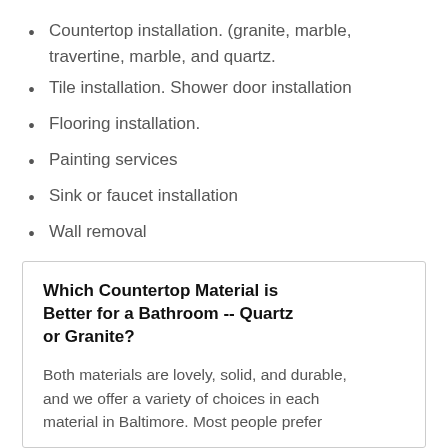Countertop installation. (granite, marble, travertine, marble, and quartz.
Tile installation. Shower door installation
Flooring installation.
Painting services
Sink or faucet installation
Wall removal
Which Countertop Material is Better for a Bathroom -- Quartz or Granite?
Both materials are lovely, solid, and durable, and we offer a variety of choices in each material in Baltimore. Most people prefer